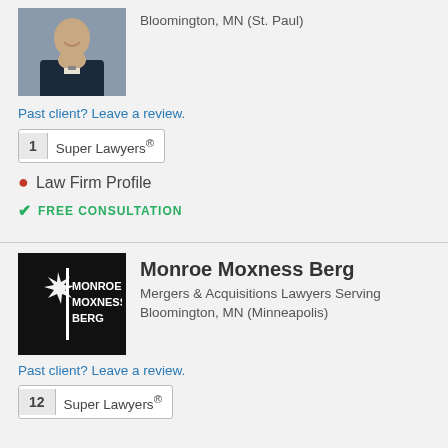[Figure (photo): Professional headshot of a young man in a dark suit and tie, smiling, against a gray background]
Bloomington, MN (St. Paul)
Past client? Leave a review.
1  Super Lawyers®
Law Firm Profile
FREE CONSULTATION
[Figure (logo): Monroe Moxness Berg law firm logo: white text and star/snowflake icon on black background]
Monroe Moxness Berg
Mergers & Acquisitions Lawyers Serving Bloomington, MN (Minneapolis)
Past client? Leave a review.
12  Super Lawyers®